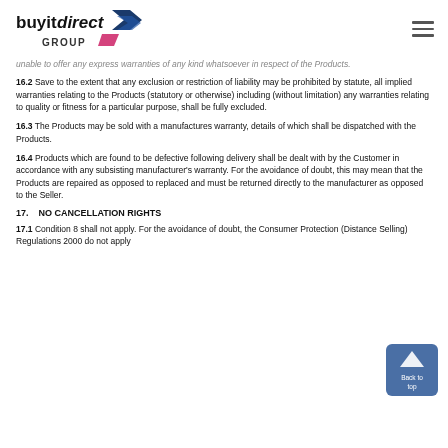buyitdirect GROUP
unable to offer any express warranties of any kind whatsoever in respect of the Products.
16.2  Save to the extent that any exclusion or restriction of liability may be prohibited by statute, all implied warranties relating to the Products (statutory or otherwise) including (without limitation) any warranties relating to quality or fitness for a particular purpose, shall be fully excluded.
16.3  The Products may be sold with a manufactures warranty, details of which shall be dispatched with the Products.
16.4  Products which are found to be defective following delivery shall be dealt with by the Customer in accordance with any subsisting manufacturer's warranty. For the avoidance of doubt, this may mean that the Products are repaired as opposed to replaced and must be returned directly to the manufacturer as opposed to the Seller.
17.    NO CANCELLATION RIGHTS
17.1  Condition 8 shall not apply. For the avoidance of doubt, the Consumer Protection (Distance Selling) Regulations 2000 do not apply